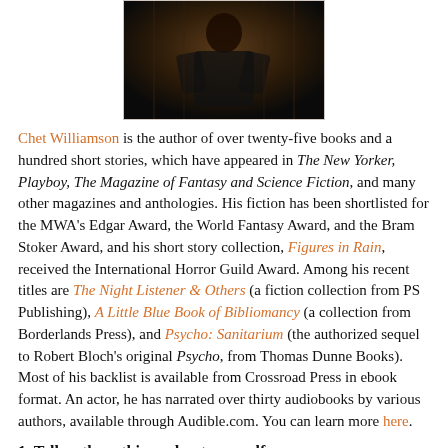[Figure (photo): Photo of Chet Williamson, a person shown from roughly mid-torso up, in a dark setting.]
Chet Williamson is the author of over twenty-five books and a hundred short stories, which have appeared in The New Yorker, Playboy, The Magazine of Fantasy and Science Fiction, and many other magazines and anthologies. His fiction has been shortlisted for the MWA's Edgar Award, the World Fantasy Award, and the Bram Stoker Award, and his short story collection, Figures in Rain, received the International Horror Guild Award. Among his recent titles are The Night Listener & Others (a fiction collection from PS Publishing), A Little Blue Book of Bibliomancy (a collection from Borderlands Press), and Psycho: Sanitarium (the authorized sequel to Robert Bloch's original Psycho, from Thomas Dunne Books). Most of his backlist is available from Crossroad Press in ebook format. An actor, he has narrated over thirty audiobooks by various authors, available through Audible.com. You can learn more here.
1. Tell us three things about yourself.